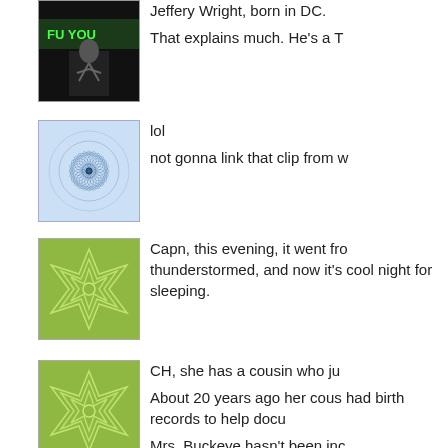[Figure (photo): Dark avatar image with green text 'FU YOU' and figure, film/music related]
Jeffery Wright, born in DC.
That explains much. He's a T
[Figure (illustration): Light blue avatar with geometric spirograph pattern and central dot]
lol
not gonna link that clip from w
[Figure (illustration): Green avatar with geometric star/flower pattern]
Capn, this evening, it went fro thunderstormed, and now it's cool night for sleeping.
[Figure (illustration): Green avatar with geometric star/flower pattern]
CH, she has a cousin who ju
About 20 years ago her cous had birth records to help docu
Mrs. Buckeye hasn't been inc